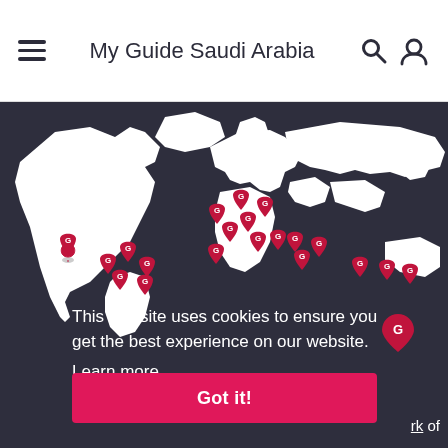My Guide Saudi Arabia
[Figure (map): World map with dark background showing white landmasses and pink/red location pin markers (G icons) scattered across various countries in North America, Europe, Middle East, Asia, and other regions.]
This website uses cookies to ensure you get the best experience on our website.
Learn more
Got it!
rk of